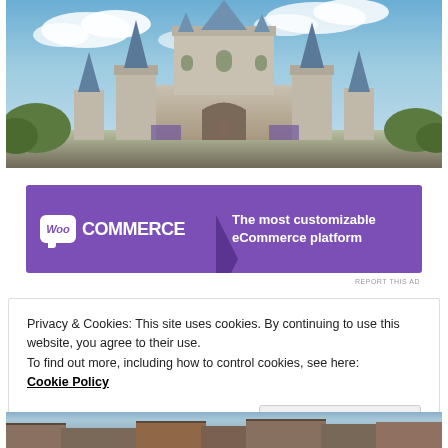[Figure (photo): Cinderella's Castle at Disney World / Magic Kingdom, photographed from ground level with blue sky and clouds in background]
[Figure (other): WooCommerce advertisement banner with purple background. Left side shows WooCommerce logo (Woo icon + COMMERCE text). Right side reads: 'The most customizable eCommerce platform']
REPORT THIS AD
Privacy & Cookies: This site uses cookies. By continuing to use this website, you agree to their use.
To find out more, including how to control cookies, see here:
Cookie Policy
Close and accept
[Figure (photo): Partial view of another Disney themed building/attraction at the bottom of the page]